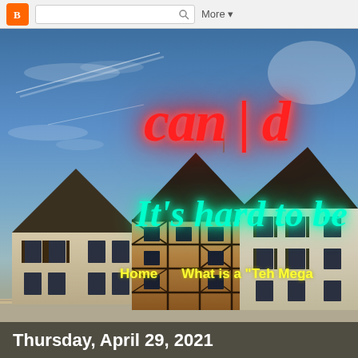Blogger navbar with search and More button
[Figure (photo): Blog header image showing European half-timbered buildings against a blue sky with contrail clouds. Neon-style text overlay reads 'can | d' in red and 'It’s hard to be' in cyan/green. Navigation links show 'Home' and 'What is a "Teh Mega' in yellow.]
Thursday, April 29, 2021